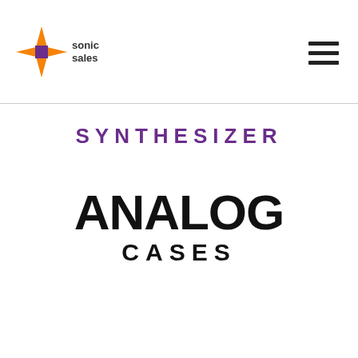Sonic Sales logo and hamburger menu
SYNTHESIZER
[Figure (logo): Analog Cases logo with large bold 'ANALOG' text and 'CASES' below in spaced lettering]